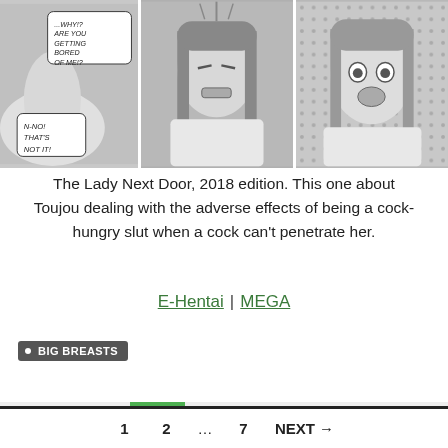[Figure (illustration): Three manga comic panels showing characters in a scene. Left panel: text bubbles reading 'WHY!? ARE YOU GETTING BORED OF ME!?' and 'N-NO! THAT'S NOT IT!'. Middle panel: close-up of a girl with long hair looking distressed. Right panel: girl with long hair looking surprised with open mouth.]
The Lady Next Door, 2018 edition. This one about Toujou dealing with the adverse effects of being a cock-hungry slut when a cock can't penetrate her.
E-Hentai | MEGA
BIG BREASTS
1   2   …   7   NEXT →